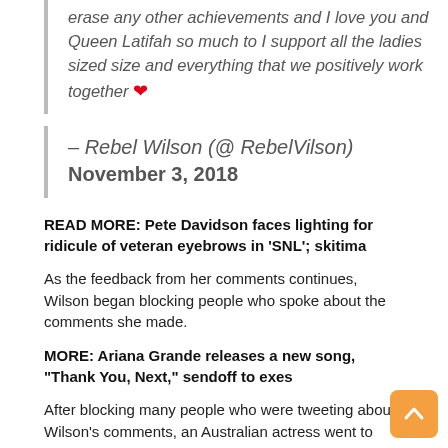erase any other achievements and I love you and Queen Latifah so much to I support all the ladies sized size and everything that we positively work together ❤
– Rebel Wilson (@ RebelVilson) November 3, 2018
READ MORE: Pete Davidson faces lighting for ridicule of veteran eyebrows in 'SNL'; skitima
As the feedback from her comments continues, Wilson began blocking people who spoke about the comments she made.
MORE: Ariana Grande releases a new song, "Thank You, Next," sendoff to exes
After blocking many people who were tweeting about Wilson's comments, an Australian actress went to Twitter on Monday to apologize.